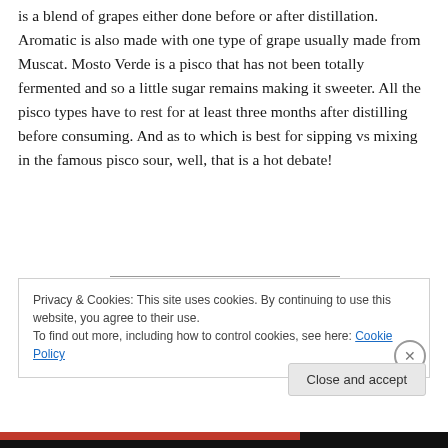is a blend of grapes either done before or after distillation. Aromatic is also made with one type of grape usually made from Muscat. Mosto Verde is a pisco that has not been totally fermented and so a little sugar remains making it sweeter. All the pisco types have to rest for at least three months after distilling before consuming. And as to which is best for sipping vs mixing in the famous pisco sour, well, that is a hot debate!
Privacy & Cookies: This site uses cookies. By continuing to use this website, you agree to their use.
To find out more, including how to control cookies, see here: Cookie Policy